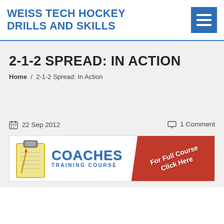WEISS TECH HOCKEY DRILLS AND SKILLS
2-1-2 SPREAD: IN ACTION
Home / 2-1-2 Spread: In Action
22 Sep 2012   1 Comment
[Figure (illustration): Coaches Training Course banner with clipboard graphic and red diagonal 'For Full Course Click Here' label]